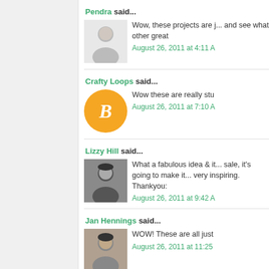Pendra said...
Wow, these projects are j... and see what other great...
August 26, 2011 at 4:11 A
Crafty Loops said...
Wow these are really stu...
August 26, 2011 at 7:10 A
Lizzy Hill said...
What a fabulous idea & it... sale, it's going to make it... very inspiring. Thankyou:...
August 26, 2011 at 9:42 A
Jan Hennings said...
WOW! These are all just...
August 26, 2011 at 11:25